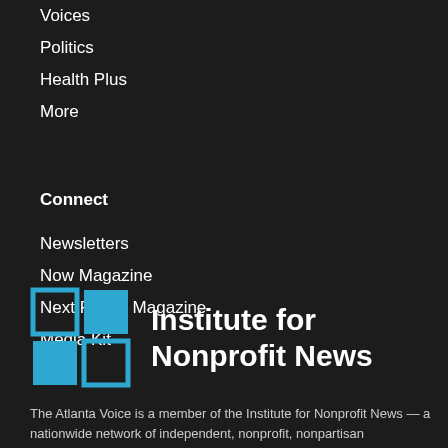Voices
Politics
Health Plus
More
Connect
Newsletters
Now Magazine
Next Phase Magazine
Media Kit
[Figure (logo): Institute for Nonprofit News logo — blue outlined grid of four squares beside bold white text reading 'Institute for Nonprofit News']
The Atlanta Voice is a member of the Institute for Nonprofit News — a nationwide network of independent, nonprofit, nonpartisan